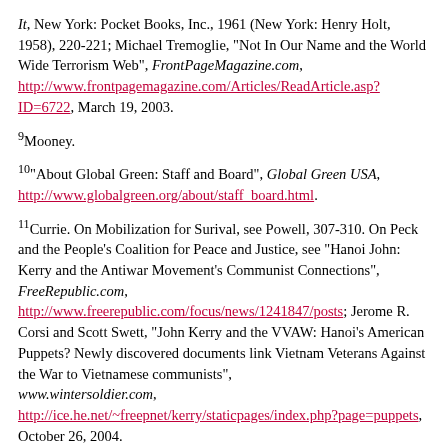It, New York: Pocket Books, Inc., 1961 (New York: Henry Holt, 1958), 220-221; Michael Tremoglie, "Not In Our Name and the World Wide Terrorism Web", FrontPageMagazine.com, http://www.frontpagemagazine.com/Articles/ReadArticle.asp?ID=6722, March 19, 2003.
9Mooney.
10"About Global Green: Staff and Board", Global Green USA, http://www.globalgreen.org/about/staff_board.html.
11Currie. On Mobilization for Surival, see Powell, 307-310. On Peck and the People's Coalition for Peace and Justice, see "Hanoi John: Kerry and the Antiwar Movement's Communist Connections", FreeRepublic.com, http://www.freerepublic.com/focus/news/1241847/posts; Jerome R. Corsi and Scott Swett, "John Kerry and the VVAW: Hanoi's American Puppets? Newly discovered documents link Vietnam Veterans Against the War to Vietnamese communists", www.wintersoldier.com, http://ice.he.net/~freepnet/kerry/staticpages/index.php?page=puppets, October 26, 2004.
12Mooney; Currie.